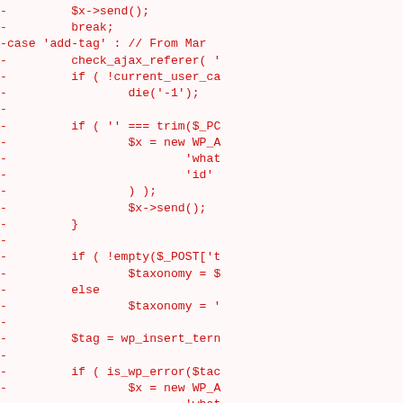[Figure (screenshot): Code diff snippet showing removed lines (prefixed with '-') in red monospace font on a light pink background. The code is PHP related to WordPress AJAX tag handling, including a case for 'add-tag', check_ajax_referer, current_user capability check, die('-1'), WP_Ajax_Response, $x->send(), wp_insert_term, is_wp_error checks, and die('0').]